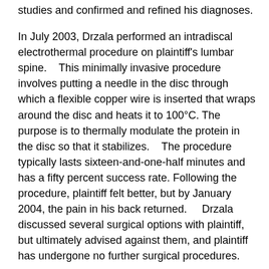studies and confirmed and refined his diagnoses.
In July 2003, Drzala performed an intradiscal electrothermal procedure on plaintiff's lumbar spine. This minimally invasive procedure involves putting a needle in the disc through which a flexible copper wire is inserted that wraps around the disc and heats it to 100°C. The purpose is to thermally modulate the protein in the disc so that it stabilizes. The procedure typically lasts sixteen-and-one-half minutes and has a fifty percent success rate. Following the procedure, plaintiff felt better, but by January 2004, the pain in his back returned. Drzala discussed several surgical options with plaintiff, but ultimately advised against them, and plaintiff has undergone no further surgical procedures.
At the time of the accident, plaintiff, then thirty-six years old, was a miscellaneous mechanic for PSE & G. His job duties required him to perform renovation, electrical, welding, and